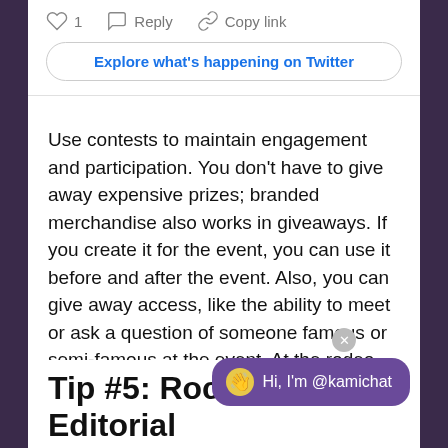[Figure (screenshot): Twitter/X post interaction bar showing heart icon with '1', Reply button, and Copy link button]
Explore what's happening on Twitter
Use contests to maintain engagement and participation. You don't have to give away expensive prizes; branded merchandise also works in giveaways. If you create it for the event, you can use it before and after the event. Also, you can give away access, like the ability to meet or ask a question of someone famous or semi-famous at the event. At the rodeo, they have gathersigned merchandise from the stars who come to perform, and give them away online later
Tip #5: Rock Your Editorial